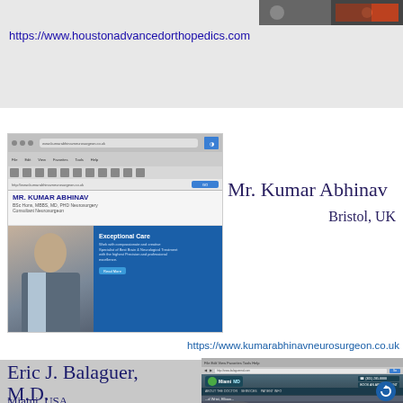[Figure (screenshot): Screenshot of Houston Advanced Orthopedics website with dark toolbar image at top right]
https://www.houstonadvancedorthopedics.com
[Figure (screenshot): Screenshot of Mr. Kumar Abhinav neurosurgeon website showing photo of doctor and Exceptional Care banner]
Mr. Kumar Abhinav
Bristol, UK
https://www.kumarabhinavneurosurgeon.co.uk
Eric J. Balaguer, M.D.
Miami, USA
[Figure (screenshot): Screenshot of Eric J. Balaguer MD website showing logo, navigation bar, and sports/medical imagery with blue circular arrow button]